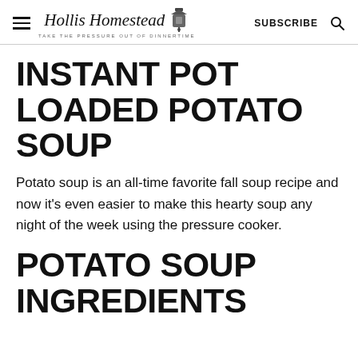Hollis Homestead — TAKE THE PRESSURE OUT OF DINNERTIME — SUBSCRIBE
INSTANT POT LOADED POTATO SOUP
Potato soup is an all-time favorite fall soup recipe and now it's even easier to make this hearty soup any night of the week using the pressure cooker.
POTATO SOUP INGREDIENTS